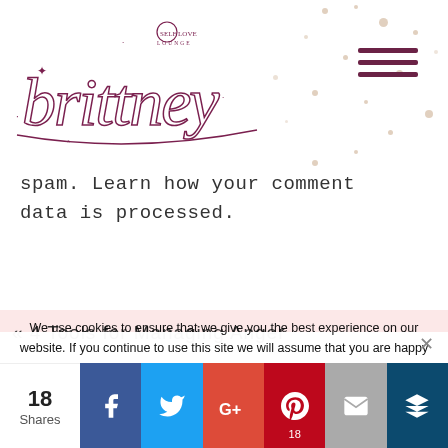[Figure (logo): Brittney self love lounge cursive script logo in dark magenta/purple]
spam. Learn how your comment data is processed.
« 4 Tools for Managing Anger
BACK
We use cookies to ensure that we give you the best experience on our website. If you continue to use this site we will assume that you are happy with it.
18 Shares | Facebook | Twitter | G+ | Pinterest 18 | Email | Crown